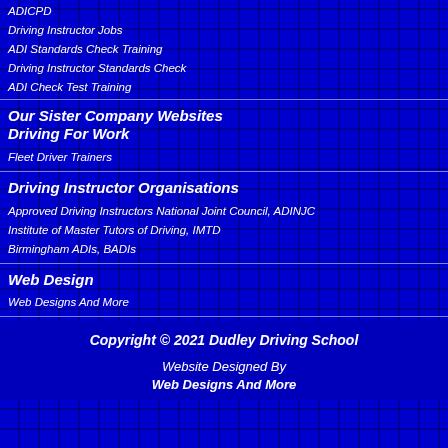ADICPD
Driving Instructor Jobs
ADI Standards Check Training
Driving Instructor Standards Check
ADI Check Test Training
Our Sister Company Websites
Driving For Work
Fleet Driver Trainers
Driving Instructor Organisations
Approved Driving Instructors National Joint Council, ADINJC
Institute of Master Tutors of Driving, IMTD
Birmingham ADIs, BADIs
Web Design
Web Designs And More
Copyright © 2021 Dudley Driving School
Website Designed By
Web Designs And More